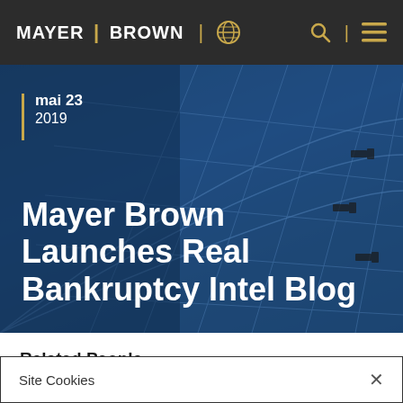MAYER | BROWN
[Figure (photo): Abstract architectural photo of a modern building glass ceiling/dome structure with a blue overlay tint, showing geometric grid patterns]
mai 23
2019
Mayer Brown Launches Real Bankruptcy Intel Blog
Related People
Site Cookies